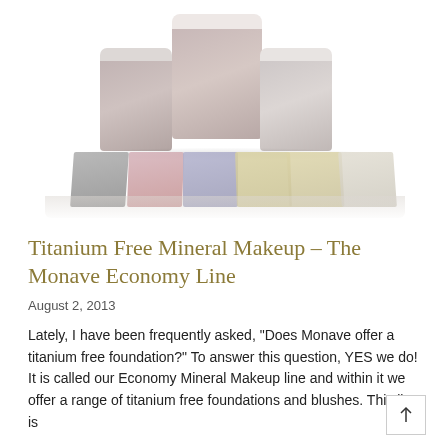[Figure (photo): Product photo showing several jars of mineral makeup powder (large jar in center, two smaller jars on sides) and six small flat packets of powder samples in various colors (grey, pink, lavender, golden, tan, cream) arranged in front, all on a white background.]
Titanium Free Mineral Makeup – The Monave Economy Line
August 2, 2013
Lately, I have been frequently asked, "Does Monave offer a titanium free foundation?" To answer this question, YES we do! It is called our Economy Mineral Makeup line and within it we offer a range of titanium free foundations and blushes. This line is